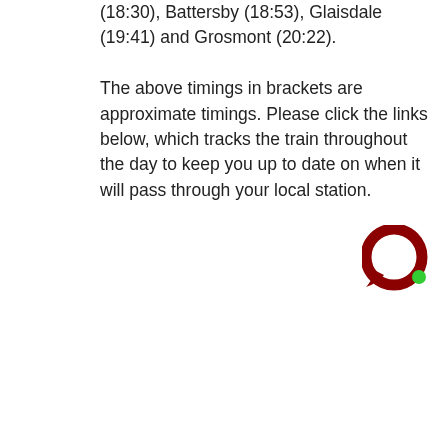(18:30), Battersby (18:53), Glaisdale (19:41) and Grosmont (20:22).

The above timings in brackets are approximate timings. Please click the links below, which tracks the train throughout the day to keep you up to date on when it will pass through your local station.
[Figure (illustration): Dark red circular chat/message bubble icon with a green notification dot in the bottom-right corner]